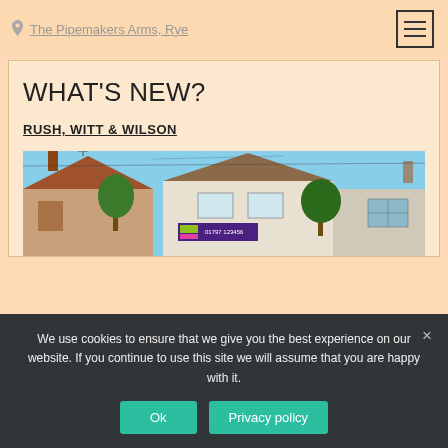The Pipemakers Arms, Rye
WHAT'S NEW?
RUSH, WITT & WILSON
[Figure (photo): Exterior photo of a residential property with a purple Rush, Witt & Wilson estate agency sign board, white weatherboard facade, under a blue sky with trees]
We use cookies to ensure that we give you the best experience on our website. If you continue to use this site we will assume that you are happy with it.